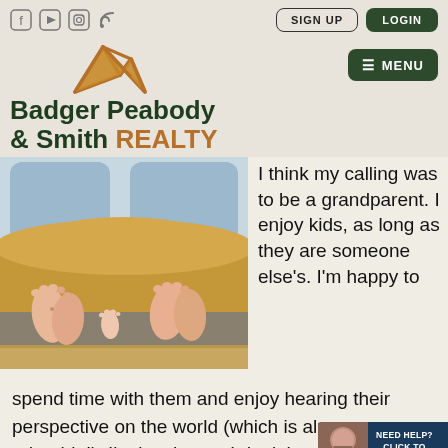Social icons | SIGN UP | LOGIN
[Figure (logo): Badger Peabody & Smith Realty logo with mountain peak icon in gold/brown and dark green text]
[Figure (photo): Photo of feet sticking out from under a yellow blanket on a couch, with adults and a baby's feet visible]
I think my calling was to be a grandparent. I enjoy kids, as long as they are someone else's. I'm happy to spend time with them and enjoy hearing their perspective on the world (which is almost adorable!). I'm just happy I don't have to c
[Figure (other): Live chat widget with avatar photo and text NEED HELP? CLICK TO LIVE CHAT]